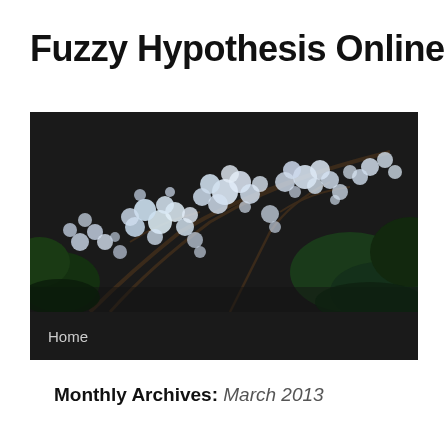Fuzzy Hypothesis Online
[Figure (photo): Cherry blossom tree with white flowers against dark background, with navigation bar showing 'Home' below]
Monthly Archives: March 2013